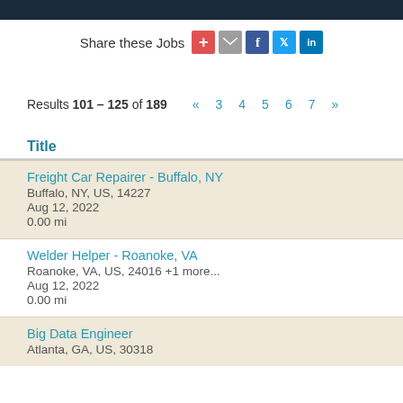Share these Jobs
Results 101 – 125 of 189  «  3  4  5  6  7  »
Title
Freight Car Repairer - Buffalo, NY
Buffalo, NY, US, 14227
Aug 12, 2022
0.00 mi
Welder Helper - Roanoke, VA
Roanoke, VA, US, 24016 +1 more...
Aug 12, 2022
0.00 mi
Big Data Engineer
Atlanta, GA, US, 30318